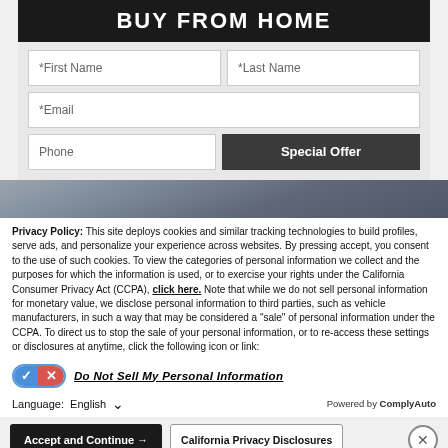BUY FROM HOME
[Figure (screenshot): Web form with First Name, Last Name, Email, Phone fields and a Special Offer button on a light grey background]
[Figure (photo): Partial photo of a car parked outside]
Privacy Policy: This site deploys cookies and similar tracking technologies to build profiles, serve ads, and personalize your experience across websites. By pressing accept, you consent to the use of such cookies. To view the categories of personal information we collect and the purposes for which the information is used, or to exercise your rights under the California Consumer Privacy Act (CCPA), click here. Note that while we do not sell personal information for monetary value, we disclose personal information to third parties, such as vehicle manufacturers, in such a way that may be considered a "sale" of personal information under the CCPA. To direct us to stop the sale of your personal information, or to re-access these settings or disclosures at anytime, click the following icon or link:
Do Not Sell My Personal Information
Language: English
Powered by ComplyAuto
Accept and Continue →
California Privacy Disclosures